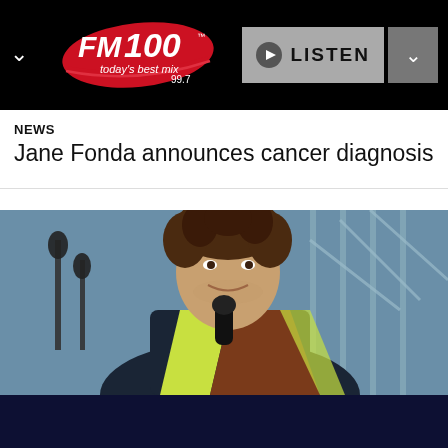FM100 today's best mix 99.7 — LISTEN
NEWS
Jane Fonda announces cancer diagnosis
[Figure (photo): Young man with curly hair singing into a microphone at an outdoor event, wearing a colorful top, with scaffolding visible in the background]